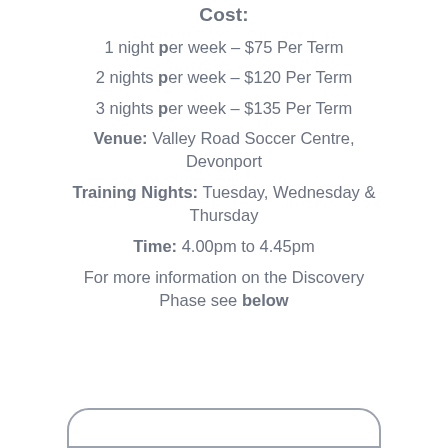Cost:
1 night per week – $75 Per Term
2 nights per week – $120 Per Term
3 nights per week – $135 Per Term
Venue: Valley Road Soccer Centre, Devonport
Training Nights: Tuesday, Wednesday & Thursday
Time: 4.00pm to 4.45pm
For more information on the Discovery Phase see below